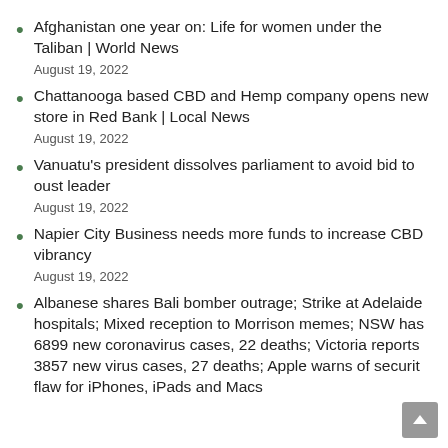Afghanistan one year on: Life for women under the Taliban | World News
August 19, 2022
Chattanooga based CBD and Hemp company opens new store in Red Bank | Local News
August 19, 2022
Vanuatu’s president dissolves parliament to avoid bid to oust leader
August 19, 2022
Napier City Business needs more funds to increase CBD vibrancy
August 19, 2022
Albanese shares Bali bomber outrage; Strike at Adelaide hospitals; Mixed reception to Morrison memes; NSW has 6899 new coronavirus cases, 22 deaths; Victoria reports 3857 new virus cases, 27 deaths; Apple warns of security flaw for iPhones, iPads and Macs